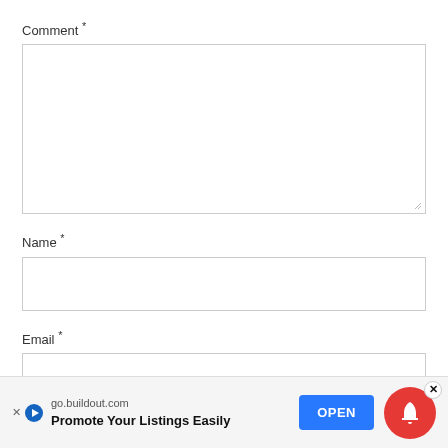Comment *
[Figure (screenshot): Empty comment textarea with resize handle in bottom right corner]
Name *
[Figure (screenshot): Empty name text input field]
Email *
[Figure (screenshot): Empty email text input field (partially visible)]
[Figure (screenshot): Advertisement banner: go.buildout.com - Promote Your Listings Easily with OPEN button, notification bell icon, and close X button]